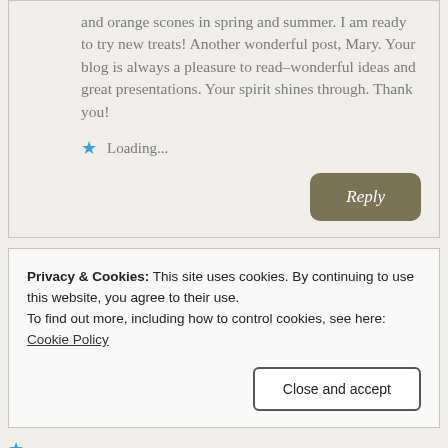and orange scones in spring and summer. I am ready to try new treats! Another wonderful post, Mary. Your blog is always a pleasure to read–wonderful ideas and great presentations. Your spirit shines through. Thank you!
Loading...
Reply
Privacy & Cookies: This site uses cookies. By continuing to use this website, you agree to their use.
To find out more, including how to control cookies, see here:
Cookie Policy
Close and accept